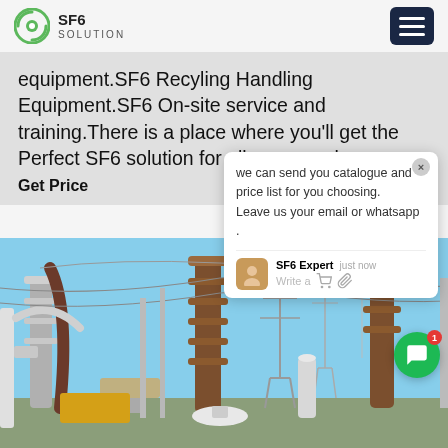SF6 SOLUTION
equipment.SF6 Recyling Handling Equipment.SF6 On-site service and training.There is a place where you'll get the Perfect SF6 solution for all your needs.
Get Price
we can send you catalogue and price list for you choosing.
Leave us your email or whatsapp .
SF6 Expert   just now
Write a
[Figure (photo): Electrical substation with high-voltage equipment, insulators, transmission towers, and overhead cables against a blue sky]